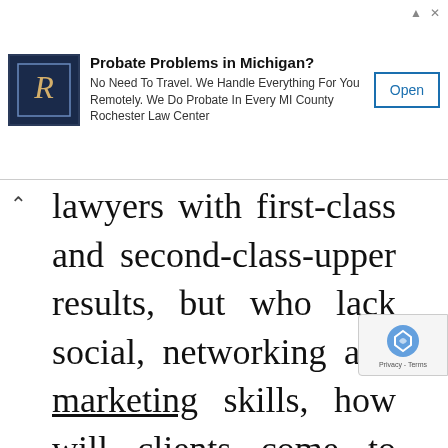[Figure (other): Advertisement banner: Probate Problems in Michigan? No Need To Travel. We Handle Everything For You Remotely. We Do Probate In Every MI County Rochester Law Center. With logo and Open button.]
lawyers with first-class and second-class-upper results, but who lack social, networking and marketing skills, how will clients come to your firm?

Without clients, there's business, and without business,